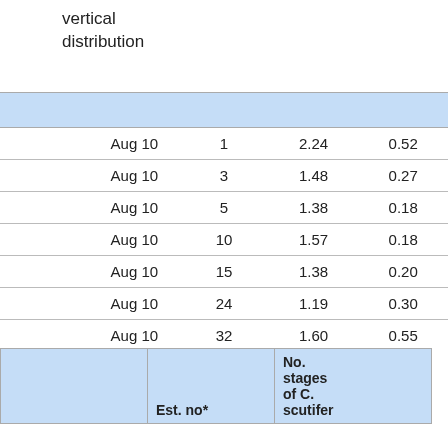vertical
distribution
|  | Aug 10 |  |  |  |
| --- | --- | --- | --- | --- |
|  | Aug 10 | 1 | 2.24 | 0.52 |
|  | Aug 10 | 3 | 1.48 | 0.27 |
|  | Aug 10 | 5 | 1.38 | 0.18 |
|  | Aug 10 | 10 | 1.57 | 0.18 |
|  | Aug 10 | 15 | 1.38 | 0.20 |
|  | Aug 10 | 24 | 1.19 | 0.30 |
|  | Aug 10 | 32 | 1.60 | 0.55 |
|  | Est. no* | No. stages of C. scutifer |  |
| --- | --- | --- | --- |